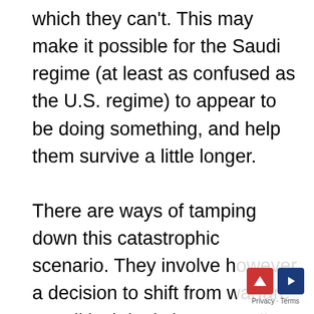which they can't. This may make it possible for the Saudi regime (at least as confused as the U.S. regime) to appear to be doing something, and help them survive a little longer.

There are ways of tamping down this catastrophic scenario. They involve however a decision to shift from warfare to political deals between all sorts of groups who don't like each other and don't trust each other. Such political deals are not unknown, but they are very difficult to arrange, and fragile when first made, until they solidify. One major element in such deals coming to fruition in the Middle East is less involvement of the United States, not more. Nobody trus... United States...